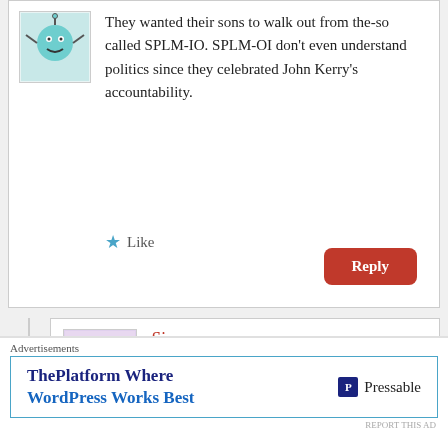They wanted their sons to walk out from the-so called SPLM-IO. SPLM-OI don't even understand politics since they celebrated John Kerry's accountability.
Like
Reply
Simon
May 8, 2015 at 10:45 pm
The article was indeed written by
Advertisements
ThePlatform Where WordPress Works Best
Pressable